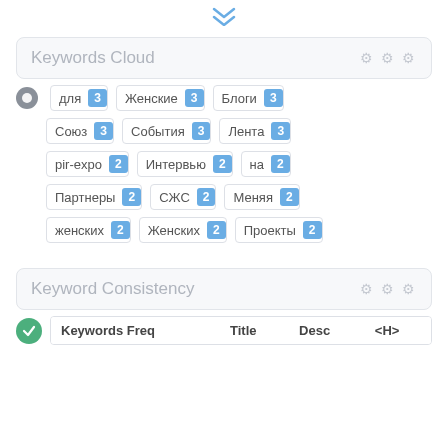[Figure (other): Double chevron down arrow icon in blue]
Keywords Cloud
[Figure (infographic): Keywords cloud showing Russian keywords with frequency badges: для 3, Женские 3, Блоги 3, Союз 3, События 3, Лента 3, pir-expo 2, Интервью 2, на 2, Партнеры 2, СЖС 2, Меняя 2, женских 2, Женских 2, Проекты 2]
Keyword Consistency
| Keywords Freq | Title | Desc | <H> |
| --- | --- | --- | --- |